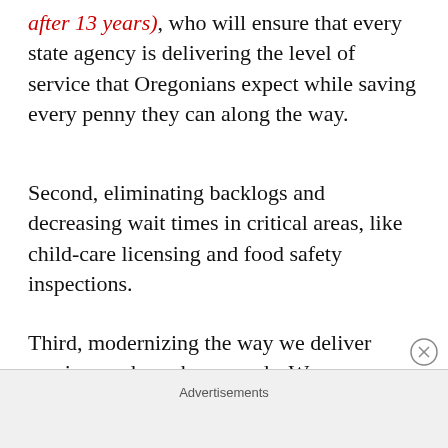after 13 years), who will ensure that every state agency is delivering the level of service that Oregonians expect while saving every penny they can along the way.
Second, eliminating backlogs and decreasing wait times in critical areas, like child-care licensing and food safety inspections.
Third, modernizing the way we deliver services and purchase goods. We can save taxpayer dollars if we streamline the way state government does business. Especially by implementing a new centralized
Advertisements